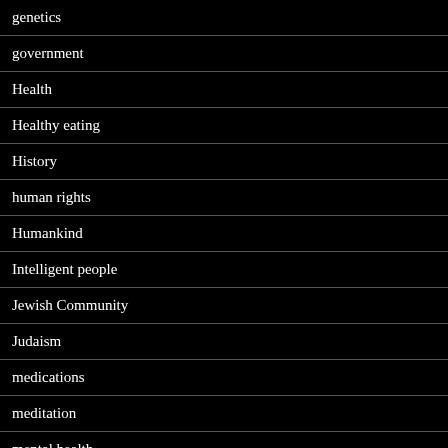genetics
government
Health
Healthy eating
History
human rights
Humankind
Intelligent people
Jewish Community
Judaism
medications
meditation
mental health